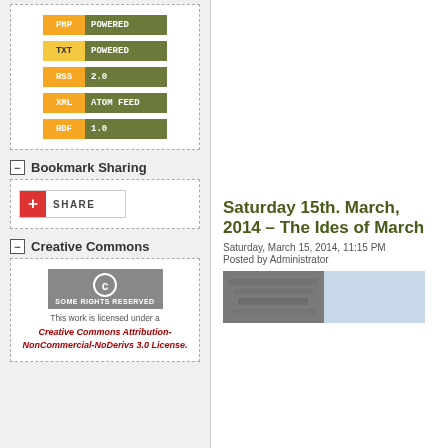[Figure (other): PHP POWERED badge]
[Figure (other): TXT POWERED badge]
[Figure (other): RSS 2.0 badge]
[Figure (other): XML ATOM FEED badge]
[Figure (other): RDF 1.0 badge]
Bookmark Sharing
[Figure (other): Share button with red cross icon]
Creative Commons
[Figure (other): Creative Commons Some Rights Reserved badge]
This work is licensed under a
Creative Commons Attribution-NonCommercial-NoDerivs 3.0 License.
Saturday 15th. March, 2014 – The Ides of March
Saturday, March 15, 2014, 11:15 PM
Posted by Administrator
[Figure (photo): Photograph of stone architectural detail on left, sky on right]